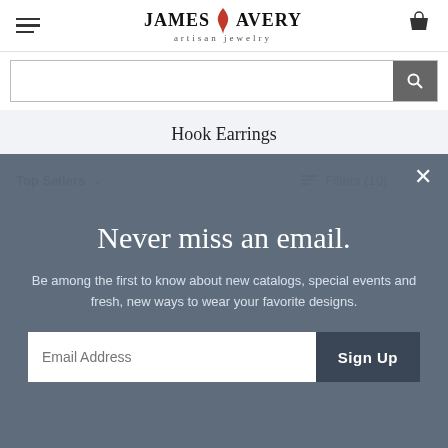James Avery Artisan Jewelry — navigation header with hamburger menu, brand logo, and cart icon
Search bar
Hook Earrings
Top Sellers ∨ | Filters (10)
Never miss an email.
Be among the first to know about new catalogs, special events and fresh, new ways to wear your favorite designs.
Email Address  Sign Up